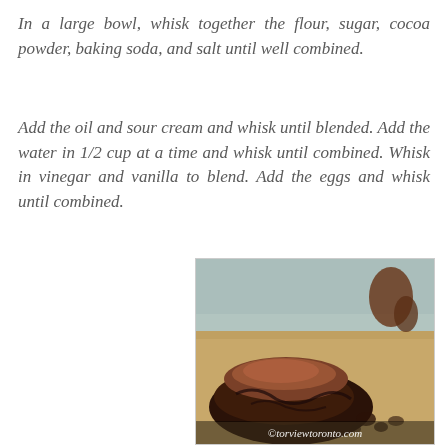In a large bowl, whisk together the flour, sugar, cocoa powder, baking soda, and salt until well combined.
Add the oil and sour cream and whisk until blended. Add the water in 1/2 cup at a time and whisk until combined. Whisk in vinegar and vanilla to blend. Add the eggs and whisk until combined.
[Figure (photo): Close-up photo of a rich chocolate brownie with chocolate frosting on a wooden surface. A watermark reads ©torviewtoronto.com at the bottom.]